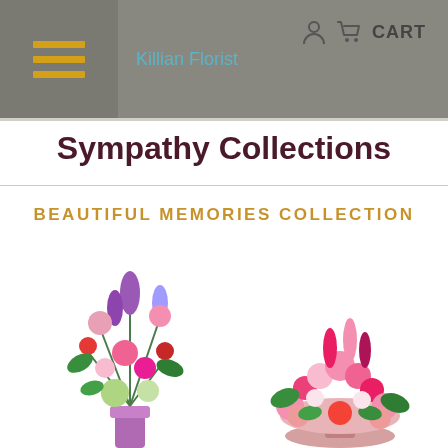Killian Florist  CART
Sympathy Collections
BEAUTIFUL MEMORIES COLLECTION
[Figure (photo): Two floral sympathy arrangements: left is a tall vase with purple, pink, and red flowers; right is a wider low arrangement with pink flowers on a pedestal.]